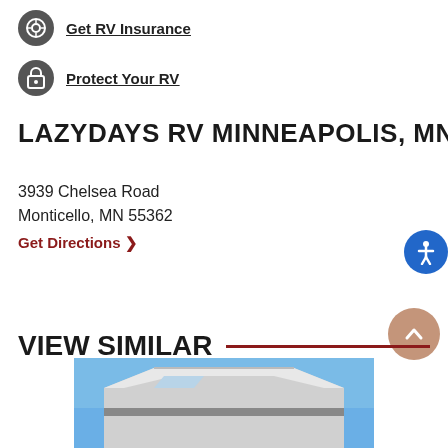Get RV Insurance
Protect Your RV
LAZYDAYS RV MINNEAPOLIS, MN
3939 Chelsea Road
Monticello, MN 55362
Get Directions ❯
VIEW SIMILAR
[Figure (photo): Partial photo of an RV vehicle against a blue sky background, showing the front/top portion of a silver/white RV]